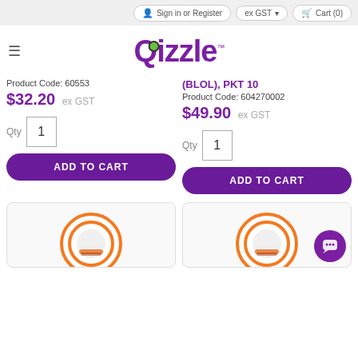Sign in or Register | ex GST | Cart (0)
[Figure (logo): Qizzle logo with purple text and green dot over Q]
Product Code: 60553
$32.20 ex GST
Qty 1
ADD TO CART
(BLOL), PKT 10
Product Code: 604270002
$49.90 ex GST
Qty 1
ADD TO CART
[Figure (photo): Product card with orange-ringed circular product image (left)]
[Figure (photo): Product card with orange-ringed circular product image (right) and purple chat button overlay]